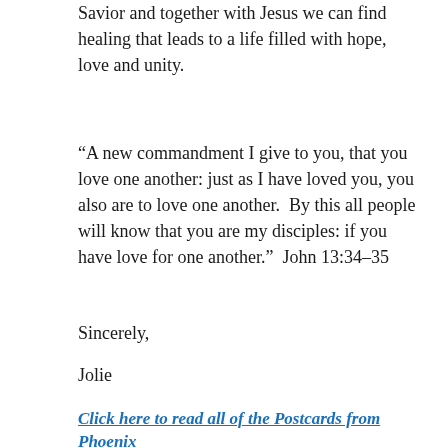Savior and together with Jesus we can find healing that leads to a life filled with hope, love and unity.
“A new commandment I give to you, that you love one another: just as I have loved you, you also are to love one another.  By this all people will know that you are my disciples: if you have love for one another.”  John 13:34-35
Sincerely,
Jolie
Click here to read all of the Postcards from Phoenix